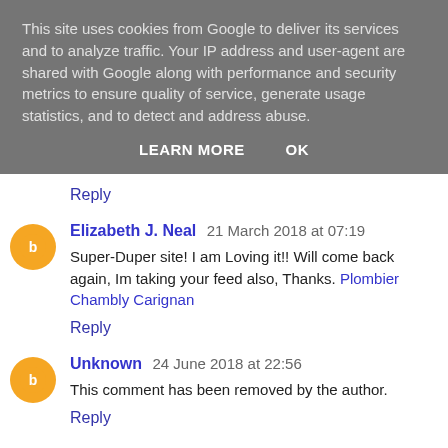This site uses cookies from Google to deliver its services and to analyze traffic. Your IP address and user-agent are shared with Google along with performance and security metrics to ensure quality of service, generate usage statistics, and to detect and address abuse.
LEARN MORE   OK
Reply
Elizabeth J. Neal  21 March 2018 at 07:19
Super-Duper site! I am Loving it!! Will come back again, Im taking your feed also, Thanks. Plombier Chambly Carignan
Reply
Unknown  24 June 2018 at 22:56
This comment has been removed by the author.
Reply